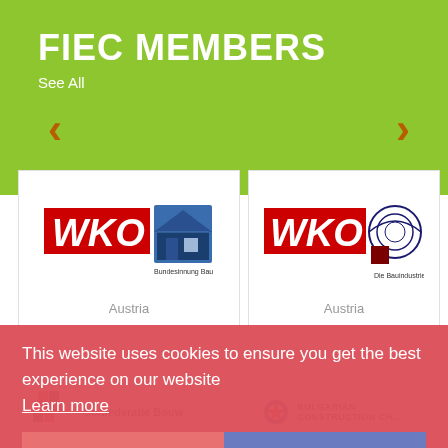FIEC MEMBERS
See All
[Figure (logo): WKO Bundesinnung Bau Austria logo]
Austria
[Figure (logo): WKO Die Bauindustrie Austria logo]
Austria
This website uses cookies to ensure you get the best experience on our website
Learn more
Refuse cookies
Allow cookies
[Figure (logo): Confederatie Bouw logo]
[Figure (logo): Bulgarian Construction Chamber logo]